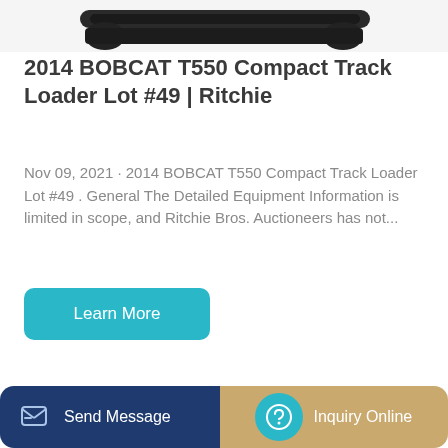[Figure (photo): Partial view of a compact track loader (Bobcat T550) from above, showing tracks, against white background]
2014 BOBCAT T550 Compact Track Loader Lot #49 | Ritchie
Nov 09, 2021 · 2014 BOBCAT T550 Compact Track Loader Lot #49 . General The Detailed Equipment Information is limited in scope, and Ritchie Bros. Auctioneers has not...
Learn More
[Figure (photo): Yellow and dark blue compact wheel loader with large front bucket raised, partial view]
Send Message
Inquiry Online